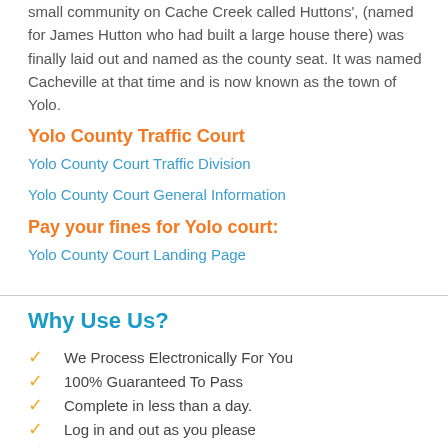small community on Cache Creek called Huttons', (named for James Hutton who had built a large house there) was finally laid out and named as the county seat. It was named Cacheville at that time and is now known as the town of Yolo.
Yolo County Traffic Court
Yolo County Court Traffic Division
Yolo County Court General Information
Pay your fines for Yolo court:
Yolo County Court Landing Page
Why Use Us?
We Process Electronically For You
100% Guaranteed To Pass
Complete in less than a day.
Log in and out as you please
DMV Licensed #: F1892